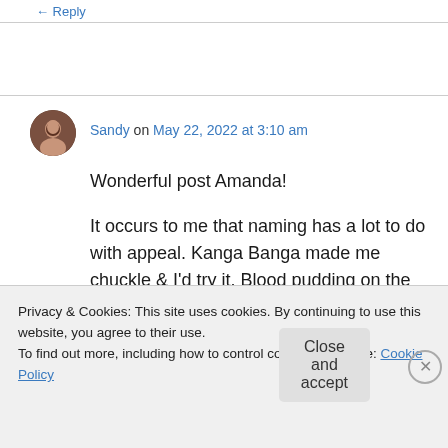← Reply
Sandy on May 22, 2022 at 3:10 am
Wonderful post Amanda!

It occurs to me that naming has a lot to do with appeal. Kanga Banga made me chuckle & I'd try it. Blood pudding on the other hand? No, even
Privacy & Cookies: This site uses cookies. By continuing to use this website, you agree to their use.
To find out more, including how to control cookies, see here: Cookie Policy